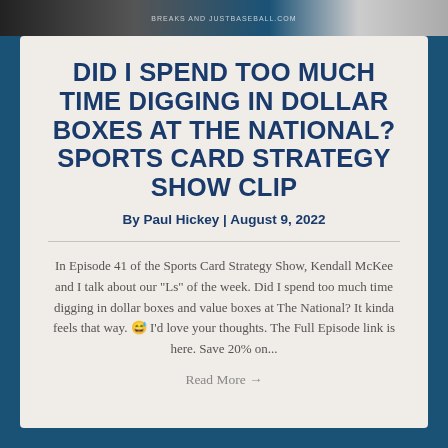[Figure (photo): Top image bar with dark background showing partial images and text 'BREAKS AND JUSTBASEBALL.COM']
DID I SPEND TOO MUCH TIME DIGGING IN DOLLAR BOXES AT THE NATIONAL? SPORTS CARD STRATEGY SHOW CLIP
By Paul Hickey | August 9, 2022
In Episode 41 of the Sports Card Strategy Show, Kendall McKee and I talk about our "Ls" of the week. Did I spend too much time digging in dollar boxes and value boxes at The National? It kinda feels that way. 😅 I'd love your thoughts. The Full Episode link is here. Save 20% on...
Read More →